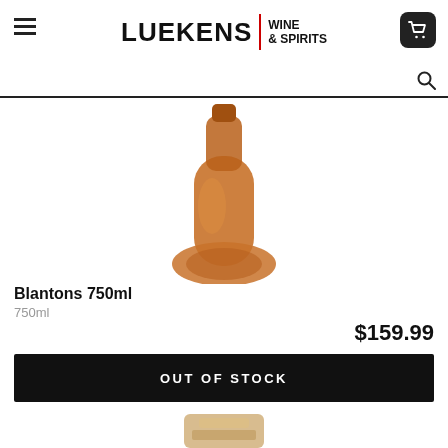LUEKENS WINE & SPIRITS
[Figure (screenshot): Blanton's 750ml bourbon bottle, top portion visible, amber/brown color]
Blantons 750ml
750ml
$159.99
OUT OF STOCK
[Figure (photo): Second product bottle, bottom portion visible at page edge]